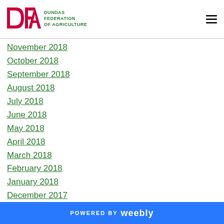DFA DUNDAS FEDERATION OF AGRICULTURE
November 2018
October 2018
September 2018
August 2018
July 2018
June 2018
May 2018
April 2018
March 2018
February 2018
January 2018
December 2017
November 2017
October 2017
September 2017
POWERED BY weebly